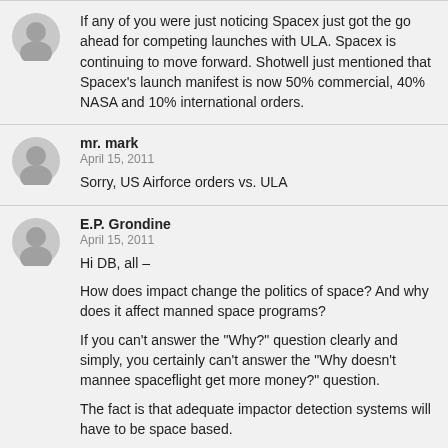If any of you were just noticing Spacex just got the go ahead for competing launches with ULA. Spacex is continuing to move forward. Shotwell just mentioned that Spacex's launch manifest is now 50% commercial, 40% NASA and 10% international orders.
mr. mark
April 15, 2011
Sorry, US Airforce orders vs. ULA
E.P. Grondine
April 15, 2011
Hi DB, all –

How does impact change the politics of space? And why does it affect manned space programs?

If you can't answer the "Why?" question clearly and simply, you certainly can't answer the "Why doesn't mannee spaceflight get more money?" question.

The fact is that adequate impactor detection systems will have to be space based.